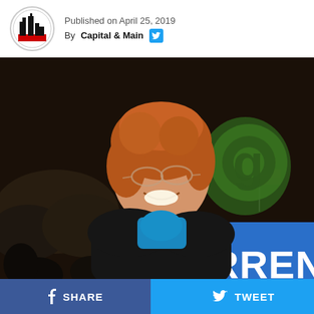Published on April 25, 2019
By Capital & Main
[Figure (photo): Elizabeth Warren speaking at a campaign rally at a podium with a blue sign reading WWW.ELIZABETHWARREN.COM and WARREN, smiling, wearing glasses and a black coat with a blue scarf, crowd with flags and signs in background]
SHARE
TWEET